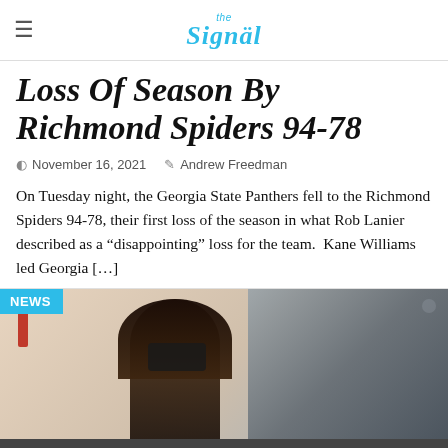the Signal
Loss Of Season By Richmond Spiders 94-78
November 16, 2021  Andrew Freedman
On Tuesday night, the Georgia State Panthers fell to the Richmond Spiders 94-78, their first loss of the season in what Rob Lanier described as a “disappointing” loss for the team.  Kane Williams led Georgia […]
[Figure (photo): NEWS badge overlay on a photo of a person with dark hair and a mask, indoors, holding or near a camera, with a red fire alarm on the wall in the background.]
The Signal uses cookies to ensure we provide you the best experience on our website. If you continue to use our website, we'll assume you're happy with it.